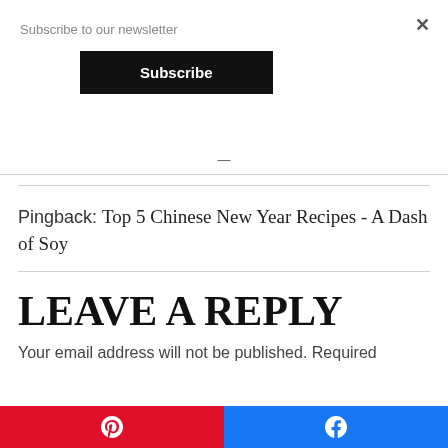Subscribe to our newsletter
Subscribe
Pingback: Top 5 Chinese New Year Recipes - A Dash of Soy
LEAVE A REPLY
Your email address will not be published. Required